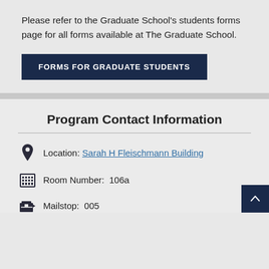Please refer to the Graduate School's students forms page for all forms available at The Graduate School.
FORMS FOR GRADUATE STUDENTS
Program Contact Information
Location:  Sarah H Fleischmann Building
Room Number:  106a
Mailstop:  005